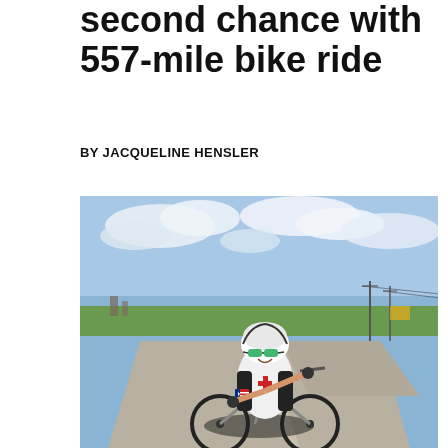second chance with 557-mile bike ride
BY JACQUELINE HENSLER
[Figure (photo): A cyclist wearing a black and white jersey with a Texas flag patch and a red cross emblem, along with a white bike helmet and green sunglasses, smiles at the camera while straddling a bicycle. The background shows a flat open road with a partly cloudy sky, utility poles, and distant buildings.]